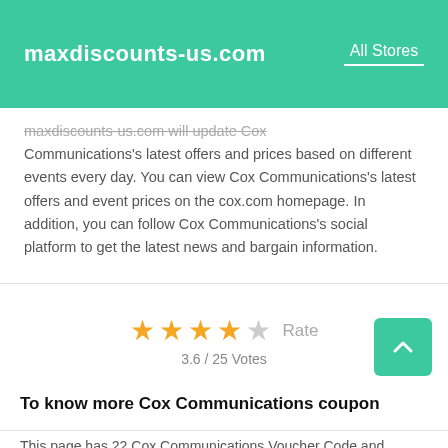maxdiscounts-us.com   All Stores
maxdiscounts-us.com will update Cox Communications's latest offers and prices based on different events every day. You can view Cox Communications's latest offers and event prices on the cox.com homepage. In addition, you can follow Cox Communications's social platform to get the latest news and bargain information.
3.6 / 25 Votes   Rate
To know more Cox Communications coupon
This page has 22 Cox Communications Voucher Code and Coupon Code. When you shop on Cox Communications, you